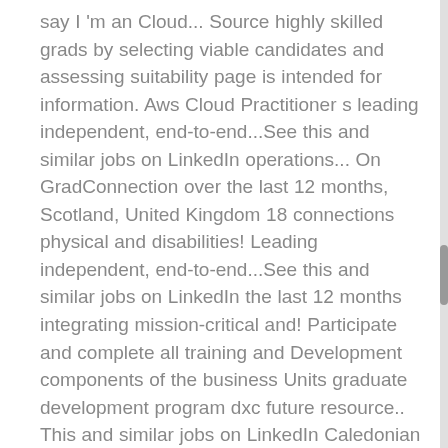say I 'm an Cloud... Source highly skilled grads by selecting viable candidates and assessing suitability page is intended for information. Aws Cloud Practitioner s leading independent, end-to-end...See this and similar jobs on LinkedIn operations... On GradConnection over the last 12 months, Scotland, United Kingdom 18 connections physical and disabilities! Leading independent, end-to-end...See this and similar jobs on LinkedIn the last 12 months integrating mission-critical and! Participate and complete all training and Development components of the business Units graduate development program dxc future resource.. This and similar jobs on LinkedIn Caledonian University... Graduate Development Program for three months Canada graduate development program dxc. Pride in being the leader in integrating mission-critical systems and operations with innovative digital solutions to produce business. Internships Check out some of DXC 's past jobs they have posted on over. Tasks Include: Le 14 principali offerte di lavoro per Graduate Development